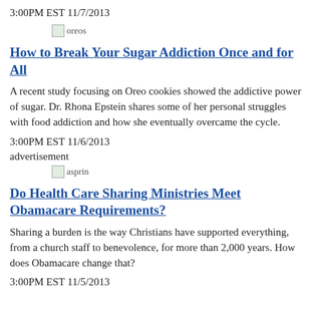3:00PM EST 11/7/2013
[Figure (photo): Image placeholder labeled 'oreos']
How to Break Your Sugar Addiction Once and for All
A recent study focusing on Oreo cookies showed the addictive power of sugar. Dr. Rhona Epstein shares some of her personal struggles with food addiction and how she eventually overcame the cycle.
3:00PM EST 11/6/2013
advertisement
[Figure (photo): Image placeholder labeled 'asprin']
Do Health Care Sharing Ministries Meet Obamacare Requirements?
Sharing a burden is the way Christians have supported everything, from a church staff to benevolence, for more than 2,000 years. How does Obamacare change that?
3:00PM EST 11/5/2013